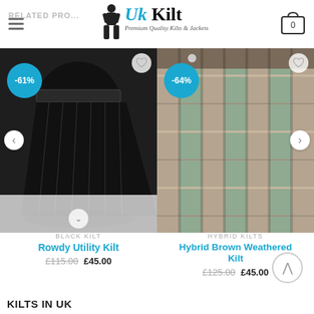UK Kilt – Premium Quality Kilts & Jackets
RELATED PRODUCTS
[Figure (photo): Black utility kilt with silver buttons, shown against white background, with -61% discount badge]
BLACK KILT
Rowdy Utility Kilt
£115.00  £45.00
[Figure (photo): Hybrid brown weathered tartan kilt in brown and green plaid, with -64% discount badge]
HYBRID KILTS
Hybrid Brown Weathered Kilt
£125.00  £45.00
KILTS IN UK